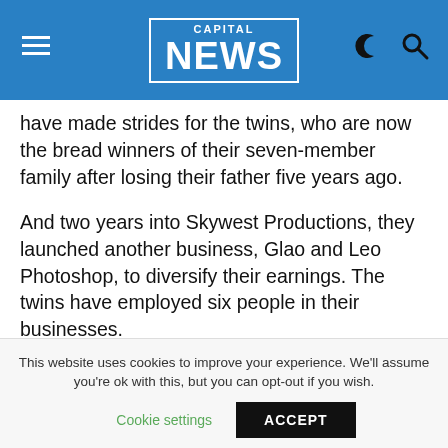CAPITAL NEWS
have made strides for the twins, who are now the bread winners of their seven-member family after losing their father five years ago.
And two years into Skywest Productions, they launched another business, Glao and Leo Photoshop, to diversify their earnings. The twins have employed six people in their businesses.
“I used to work for a media company but my ideas were not being used the way I would prefer. So I wanted my ideas to go further,” notes March, who is clearly the more
This website uses cookies to improve your experience. We’ll assume you’re ok with this, but you can opt-out if you wish.
Cookie settings   ACCEPT